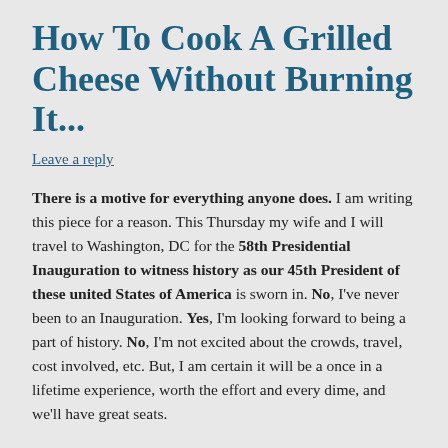How To Cook A Grilled Cheese Without Burning It...
Leave a reply
There is a motive for everything anyone does. I am writing this piece for a reason. This Thursday my wife and I will travel to Washington, DC for the 58th Presidential Inauguration to witness history as our 45th President of these united States of America is sworn in. No, I've never been to an Inauguration. Yes, I'm looking forward to being a part of history. No, I'm not excited about the crowds, travel, cost involved, etc. But, I am certain it will be a once in a lifetime experience, worth the effort and every dime, and we'll have great seats.